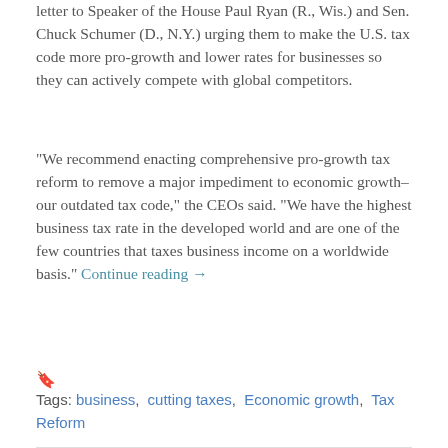letter to Speaker of the House Paul Ryan (R., Wis.) and Sen. Chuck Schumer (D., N.Y.) urging them to make the U.S. tax code more pro-growth and lower rates for businesses so they can actively compete with global competitors.
“We recommend enacting comprehensive pro-growth tax reform to remove a major impediment to economic growth–our outdated tax code,” the CEOs said. “We have the highest business tax rate in the developed world and are one of the few countries that taxes business income on a worldwide basis.” Continue reading →
Tags: business, cutting taxes, Economic growth, Tax Reform